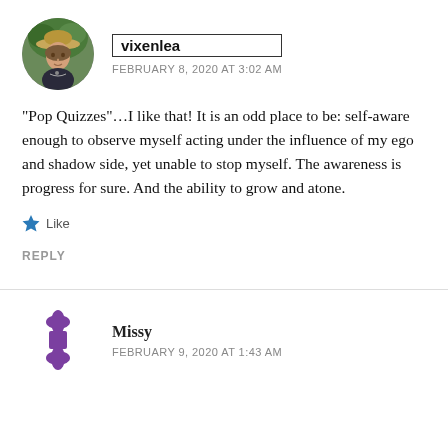[Figure (photo): Circular avatar photo of a woman wearing a hat outdoors]
vixenlea
FEBRUARY 8, 2020 AT 3:02 AM
“Pop Quizzes”…I like that! It is an odd place to be: self-aware enough to observe myself acting under the influence of my ego and shadow side, yet unable to stop myself. The awareness is progress for sure. And the ability to grow and atone.
Like
REPLY
[Figure (logo): Purple four-pointed star/asterisk avatar icon for user Missy]
Missy
FEBRUARY 9, 2020 AT 1:43 AM